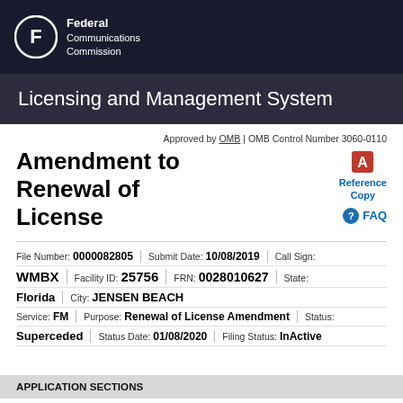[Figure (logo): FCC Federal Communications Commission logo with circular F emblem on dark background]
Licensing and Management System
Approved by OMB | OMB Control Number 3060-0110
Amendment to Renewal of License
[Figure (other): PDF icon and Reference Copy link]
FAQ
| Field | Value |
| --- | --- |
| File Number: | 0000082805 |
| Submit Date: | 10/08/2019 |
| Call Sign: | WMBX |
| Facility ID: | 25756 |
| FRN: | 0028010627 |
| State: | Florida |
| City: | JENSEN BEACH |
| Service: | FM |
| Purpose: | Renewal of License Amendment |
| Status: | Superceded |
| Status Date: | 01/08/2020 |
| Filing Status: | InActive |
APPLICATION SECTIONS